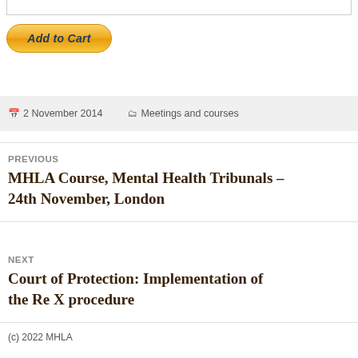[Figure (other): Add to Cart button (PayPal-style golden gradient button)]
📅 2 November 2014   🗂 Meetings and courses
PREVIOUS
MHLA Course, Mental Health Tribunals – 24th November, London
NEXT
Court of Protection: Implementation of the Re X procedure
(c) 2022 MHLA